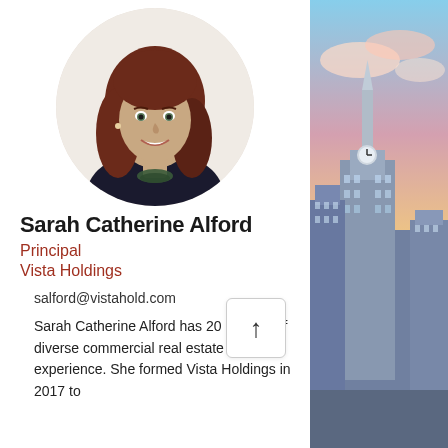[Figure (photo): Professional headshot of Sarah Catherine Alford, a woman with long auburn hair wearing a black top and decorative necklace, circular crop]
Sarah Catherine Alford
Principal
Vista Holdings
salford@vistahold.com
Sarah Catherine Alford has 20 + years of diverse commercial real estate experience. She formed Vista Holdings in 2017 to
[Figure (photo): Aerial cityscape photo showing Philadelphia city hall and skyline at sunset with pink and blue sky]